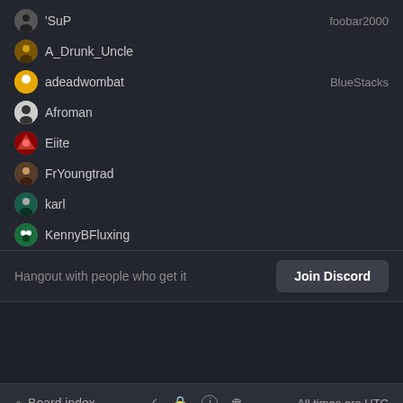'SuP — foobar2000
A_Drunk_Uncle
adeadwombat — BlueStacks
Afroman
Eiite
FrYoungtrad
karl
KennyBFluxing
Hangout with people who get it
Join Discord
Board index   ✓  🔒  ℹ  🗑   All times are UTC
Powered by PokerTH   Donate